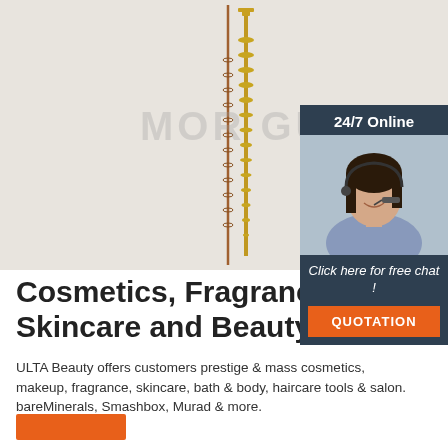[Figure (photo): Two gold/brass wood screws standing vertically against a light beige background, with a watermark text 'MORGUN' overlaid in grey]
[Figure (infographic): Chat panel with dark navy background showing '24/7 Online' header, photo of a smiling female customer service agent wearing a headset, italic text 'Click here for free chat!', and an orange QUOTATION button]
Cosmetics, Fragrance, Skincare and Beauty Gifts
ULTA Beauty offers customers prestige & mass cosmetics, makeup, fragrance, skincare, bath & body, haircare tools & salon. bareMinerals, Smashbox, Murad & more.